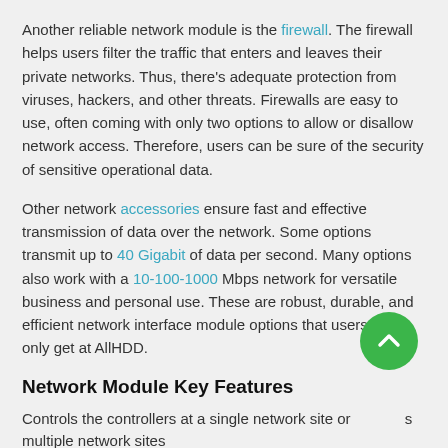Another reliable network module is the firewall. The firewall helps users filter the traffic that enters and leaves their private networks. Thus, there's adequate protection from viruses, hackers, and other threats. Firewalls are easy to use, often coming with only two options to allow or disallow network access. Therefore, users can be sure of the security of sensitive operational data.
Other network accessories ensure fast and effective transmission of data over the network. Some options transmit up to 40 Gigabit of data per second. Many options also work with a 10-100-1000 Mbps network for versatile business and personal use. These are robust, durable, and efficient network interface module options that users can only get at AllHDD.
Network Module Key Features
Controls the controllers at a single network site or multiple network sites
Retains a subset of databases that are relevant to the network site being controlled
Communicates with the central server to discover and